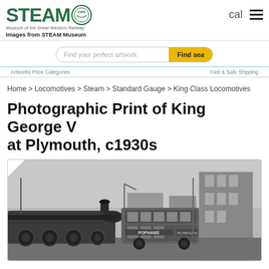[Figure (logo): STEAM Museum of the Great Western Railway logo with GWR circle emblem in green]
Images from STEAM Museum
[Figure (screenshot): Search bar with placeholder text 'Find your perfect artwork' and yellow 'Find' button]
Home > Locomotives > Steam > Standard Gauge > King Class Locomotives
Photographic Print of King George V at Plymouth, c1930s
[Figure (photo): Black and white photograph showing a steam locomotive (King George V) alongside a double-decker bus with 'POPHAMS' and 'PLYMOUTH' text, at Plymouth station circa 1930s]